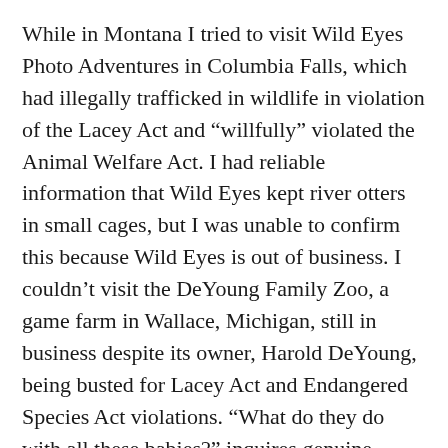While in Montana I tried to visit Wild Eyes Photo Adventures in Columbia Falls, which had illegally trafficked in wildlife in violation of the Lacey Act and “willfully” violated the Animal Welfare Act. I had reliable information that Wild Eyes kept river otters in small cages, but I was unable to confirm this because Wild Eyes is out of business. I couldn’t visit the DeYoung Family Zoo, a game farm in Wallace, Michigan, still in business despite its owner, Harold DeYoung, being busted for Lacey Act and Endangered Species Act violations. “What do they do with all these babies?” inquires genuine wildlife photographer Don Jones about the industry’s “new baby” promos, which appear like crabgrass every spring. No one knows, but in 2004 a game farm in Sandstone, Minnesota—still in business as Minnesota Wildlife Connection—sold its tame black